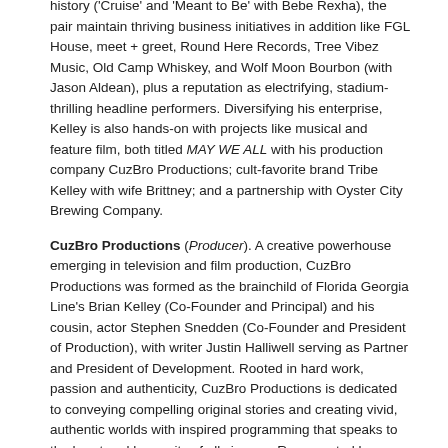history ('Cruise' and 'Meant to Be' with Bebe Rexha), the pair maintain thriving business initiatives in addition like FGL House, meet + greet, Round Here Records, Tree Vibez Music, Old Camp Whiskey, and Wolf Moon Bourbon (with Jason Aldean), plus a reputation as electrifying, stadium-thrilling headline performers. Diversifying his enterprise, Kelley is also hands-on with projects like musical and feature film, both titled MAY WE ALL with his production company CuzBro Productions; cult-favorite brand Tribe Kelley with wife Brittney; and a partnership with Oyster City Brewing Company.
CuzBro Productions (Producer). A creative powerhouse emerging in television and film production, CuzBro Productions was formed as the brainchild of Florida Georgia Line's Brian Kelley (Co-Founder and Principal) and his cousin, actor Stephen Snedden (Co-Founder and President of Production), with writer Justin Halliwell serving as Partner and President of Development. Rooted in hard work, passion and authenticity, CuzBro Productions is dedicated to conveying compelling original stories and creating vivid, authentic worlds with inspired programming that speaks to the heart and humanity of all viewers. Represented by WME, the newly launched company has several television and film projects already in the works, with details expected to announce soon.